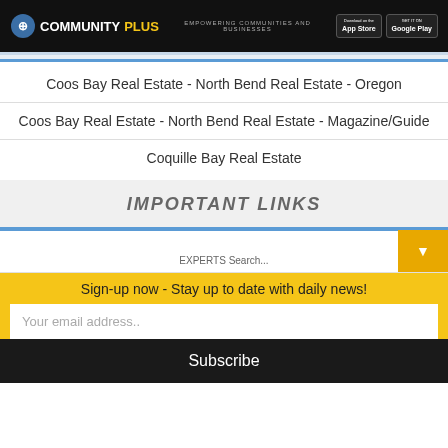COMMUNITYPLUS — EMPOWERING COMMUNITIES AND BUSINESSES
Coos Bay Real Estate - North Bend Real Estate - Oregon
Coos Bay Real Estate - North Bend Real Estate - Magazine/Guide
Coquille Bay Real Estate
IMPORTANT LINKS
Sign-up now - Stay up to date with daily news!
Your email address..
Subscribe